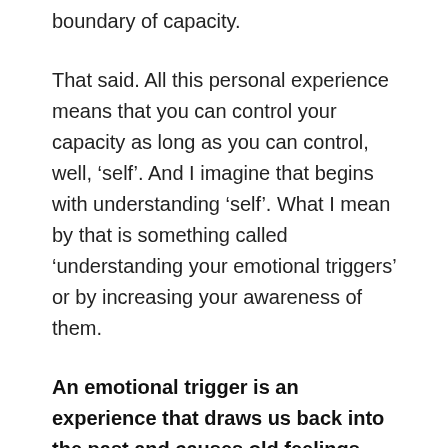boundary of capacity.
That said. All this personal experience means that you can control your capacity as long as you can control, well, ‘self’. And I imagine that begins with understanding ‘self’. What I mean by that is something called ‘understanding your emotional triggers’ or by increasing your awareness of them.
An emotional trigger is an experience that draws us back into the past and causes old feelings and behaviors to